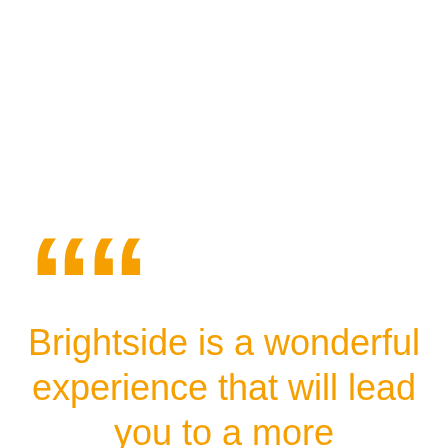““
Brightside is a wonderful experience that will lead you to a more